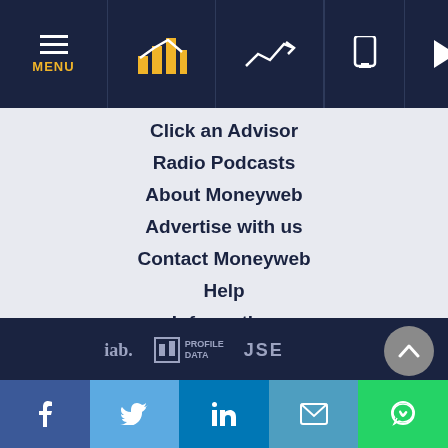Moneyweb navigation header with MENU, chart icons, and utility icons
Click an Advisor
Radio Podcasts
About Moneyweb
Advertise with us
Contact Moneyweb
Help
Information
Privacy Policy / Terms of Use
Cookie Policy
[Figure (screenshot): Three app store buttons: Get it on Google Play, Download on the App Store, Launch as Web App (PWA)]
[Figure (logo): Footer logos: iab South Africa, Profile Data, JSE]
Social share bar: Facebook, Twitter, LinkedIn, Email, WhatsApp